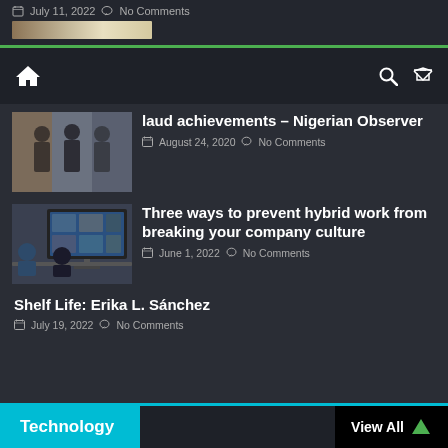July 11, 2022  No Comments
laud achievements – Nigerian Observer
August 24, 2020  No Comments
Three ways to prevent hybrid work from breaking your company culture
June 1, 2022  No Comments
Shelf Life: Erika L. Sánchez
July 19, 2022  No Comments
Technology  View All